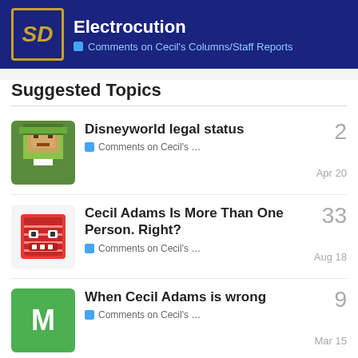SD | Electrocution | Comments on Cecil's Columns/Staff Reports
Suggested Topics
Disneyworld legal status | Comments on Cecil's ... | 2 | Apr 20
Cecil Adams Is More Than One Person. Right? | Comments on Cecil's ... | 33 | Aug 18
When Cecil Adams is wrong | Comments on Cecil's ... | 9 | Mar 15
How do they test placebos? | Comments on Cecil's ... | 8 | Apr 18
S&H Stamps. Anyone remember | 37